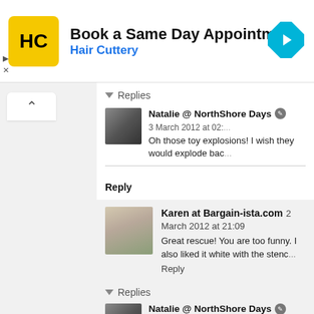[Figure (screenshot): Advertisement banner for Hair Cuttery with logo, 'Book a Same Day Appointment' text, and navigation arrow icon]
Replies
Natalie @ NorthShore Days  3 March 2012 at 02:...
Oh those toy explosions! I wish they would explode bac...
Reply
Karen at Bargain-ista.com  2 March 2012 at 21:09
Great rescue! You are too funny. I also liked it white with the stenc...
Reply
Replies
Natalie @ NorthShore Days  3 March 2012 at 02:...
Aw thanks Karen. I think the stencil would have worked...